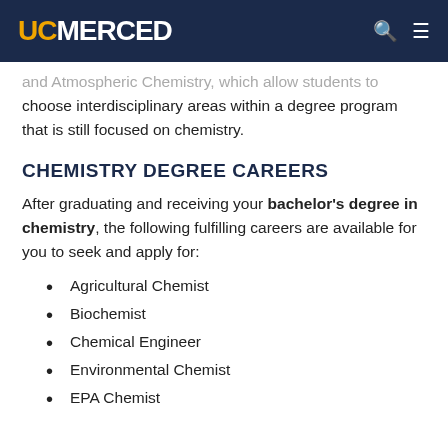UC MERCED
and Atmospheric Chemistry, which allow students to choose interdisciplinary areas within a degree program that is still focused on chemistry.
CHEMISTRY DEGREE CAREERS
After graduating and receiving your bachelor's degree in chemistry, the following fulfilling careers are available for you to seek and apply for:
Agricultural Chemist
Biochemist
Chemical Engineer
Environmental Chemist
EPA Chemist